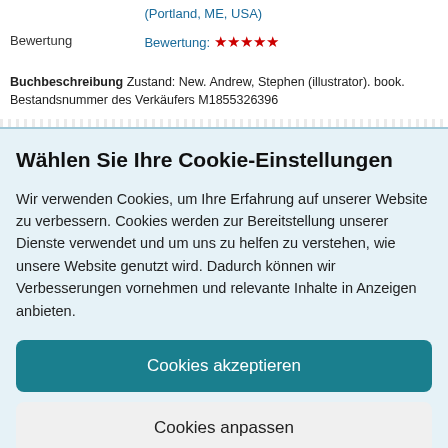(Portland, ME, USA)
| Bewertung | Bewertung: |
| --- | --- |
| Bewertung | Bewertung: ★★★★★ |
Buchbeschreibung Zustand: New. Andrew, Stephen (illustrator). book. Bestandsnummer des Verkäufers M1855326396
Wählen Sie Ihre Cookie-Einstellungen
Wir verwenden Cookies, um Ihre Erfahrung auf unserer Website zu verbessern. Cookies werden zur Bereitstellung unserer Dienste verwendet und um uns zu helfen zu verstehen, wie unsere Website genutzt wird. Dadurch können wir Verbesserungen vornehmen und relevante Inhalte in Anzeigen anbieten.
Cookies akzeptieren
Cookies anpassen